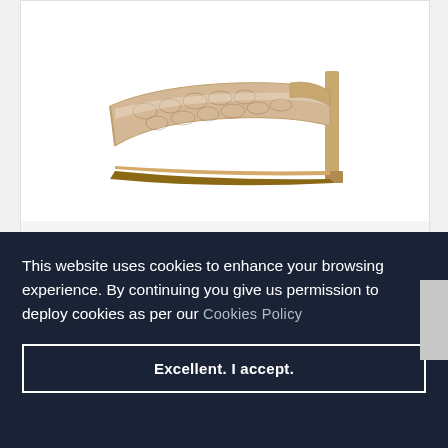[Figure (photo): Product photo of a beige and gold high-heel mule sandal (MAIA) shown from the side against a white background]
MAIA
Beige, Gold
£175.00
This website uses cookies to enhance your browsing experience. By continuing you give us permission to deploy cookies as per our Cookies Policy
Excellent. I accept.